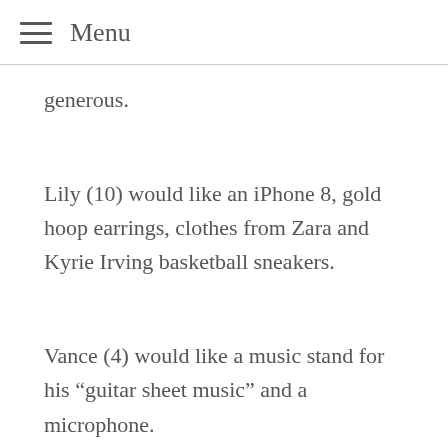Menu
generous.
Lily (10) would like an iPhone 8, gold hoop earrings, clothes from Zara and Kyrie Irving basketball sneakers.
Vance (4) would like a music stand for his “guitar sheet music” and a microphone.